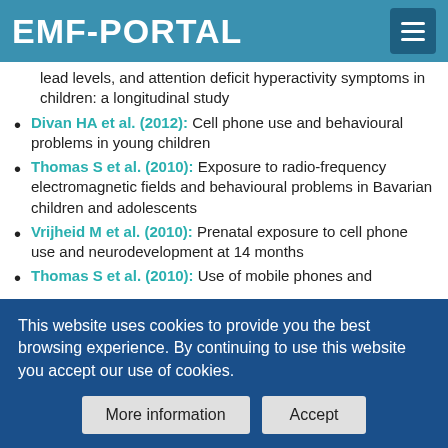EMF-PORTAL
lead levels, and attention deficit hyperactivity symptoms in children: a longitudinal study
Divan HA et al. (2012): Cell phone use and behavioural problems in young children
Thomas S et al. (2010): Exposure to radio-frequency electromagnetic fields and behavioural problems in Bavarian children and adolescents
Vrijheid M et al. (2010): Prenatal exposure to cell phone use and neurodevelopment at 14 months
Thomas S et al. (2010): Use of mobile phones and
This website uses cookies to provide you the best browsing experience. By continuing to use this website you accept our use of cookies.